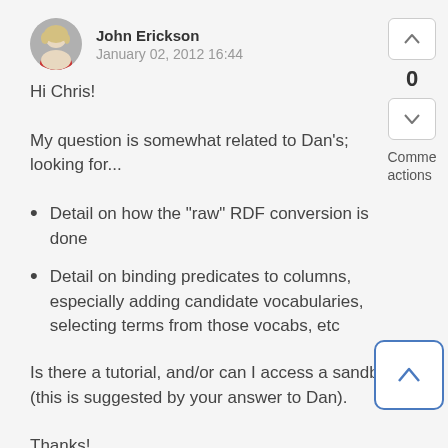John Erickson
January 02, 2012 16:44
Hi Chris!
My question is somewhat related to Dan's; looking for...
Detail on how the "raw" RDF conversion is done
Detail on binding predicates to columns, especially adding candidate vocabularies, selecting terms from those vocabs, etc
Is there a tutorial, and/or can I access a sandbox (this is suggested by your answer to Dan).
Thanks!